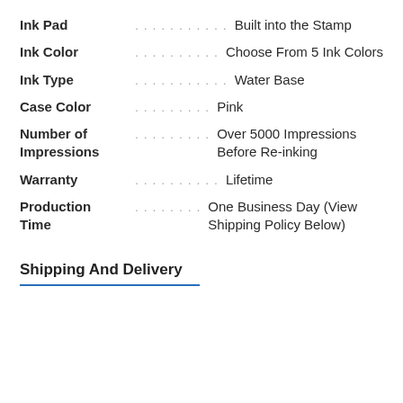Ink Pad ........... Built into the Stamp
Ink Color.......... Choose From 5 Ink Colors
Ink Type ........... Water Base
Case Color......... Pink
Number of ......... Over 5000 Impressions Before Re-inking
Warranty .......... Lifetime
Production......... One Business Day (View Shipping Policy Below)
Shipping And Delivery